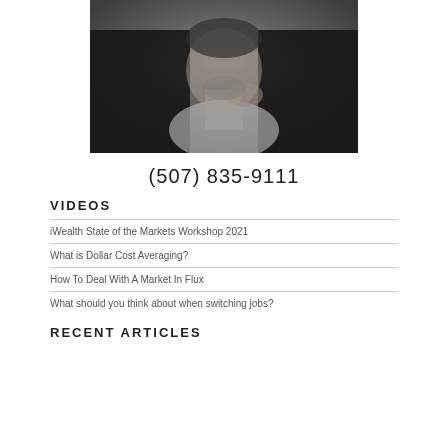[Figure (photo): Black and white professional portrait photo of a man in a suit with hand near chin in thoughtful pose]
(507) 835-9111
VIDEOS
iWealth State of the Markets Workshop 2021
What is Dollar Cost Averaging?
How To Deal With A Market In Flux
What should you think about when switching jobs?
RECENT ARTICLES